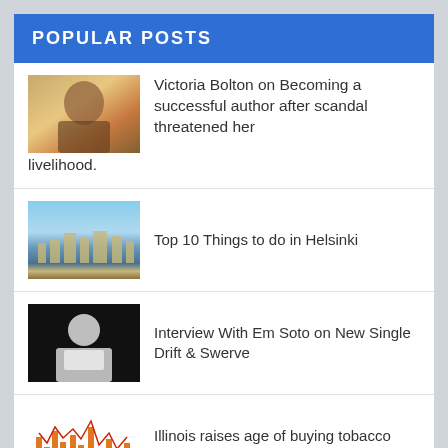POPULAR POSTS
Victoria Bolton on Becoming a successful author after scandal threatened her livelihood.
Top 10 Things to do in Helsinki
Interview With Em Soto on New Single Drift & Swerve
Illinois raises age of buying tobacco products from 18 to 21
THE BEAUTIFUL AND TALENTED ACTRESS SARAH JOSEPHINE BOSCH
Apple Vs FBI: All you need to know